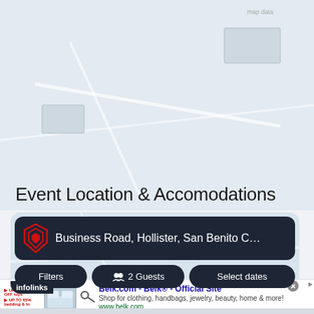[Figure (map): Map background showing a geographic area, light blue/grey tones]
Event Location & Accomodations
[Figure (screenshot): A dark-themed accommodation search widget showing: a red logo icon, address field reading 'Business Road, Hollister, San Benito County, C...', and three buttons: Filters, 2 Guests, Select dates. An infolinks label is in the bottom-left corner.]
[Figure (screenshot): An advertisement overlay for Belk.com - Belk® - Official Site. Shows product thumbnails, ad text 'Shop for clothing, handbags, jewelry, beauty, home & more!' with url www.belk.com. A close button (x) and a forward arrow circle button are visible.]